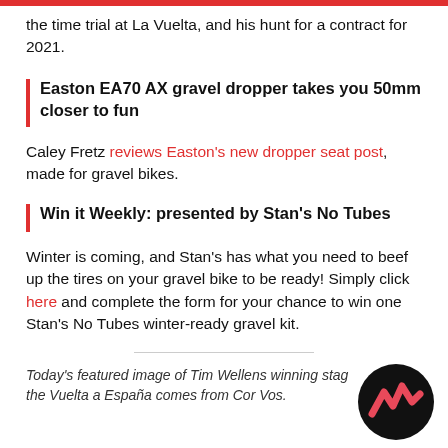the time trial at La Vuelta, and his hunt for a contract for 2021.
Easton EA70 AX gravel dropper takes you 50mm closer to fun
Caley Fretz reviews Easton's new dropper seat post, made for gravel bikes.
Win it Weekly: presented by Stan's No Tubes
Winter is coming, and Stan's has what you need to beef up the tires on your gravel bike to be ready! Simply click here and complete the form for your chance to win one Stan's No Tubes winter-ready gravel kit.
Today's featured image of Tim Wellens winning stag the Vuelta a España comes from Cor Vos.
[Figure (logo): Cyclingnews or similar cycling media logo — black circle with pink/red zigzag mountain shape]